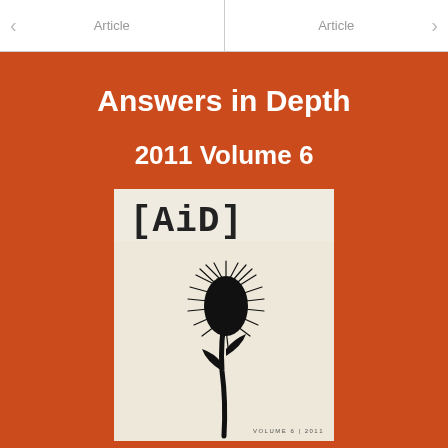Article | Article
Answers in Depth
2011 Volume 6
[Figure (illustration): Cover of Answers in Depth journal, Volume 6, 2011. Shows [AiD] text in monospace font at top, with a black silhouette of a thistle plant against a light beige background. Footer reads VOLUME 6 | 2011.]